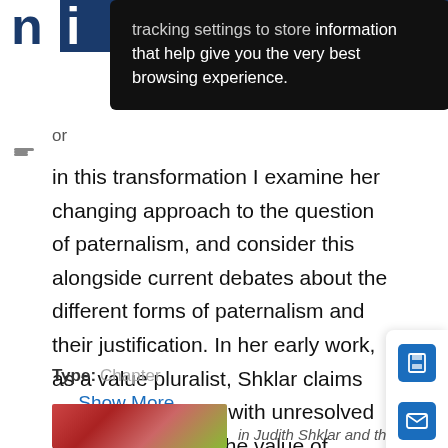ni (logo/header bar)
tracking settings to store information that help give you the very best browsing experience.
or
in this transformation I examine her changing approach to the question of paternalism, and consider this alongside current debates about the different forms of paternalism and their justification. In her early work, as a value pluralist, Shklar claims that we can be left with unresolved conflicts between the value of justice, on the one hand, and educative, perfec
… Show More
Type: Chapter
[Figure (photo): Partial thumbnail of a book cover for 'In Judith Shklar and the...' with colorful abstract design]
in Judith Shklar and the